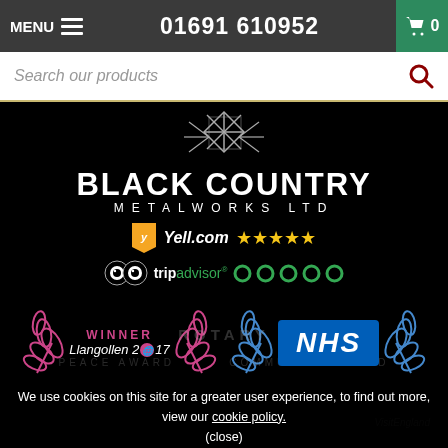MENU  01691 610952  [cart: 0]
Search our products
[Figure (logo): Black Country Metalworks Ltd logo with geometric X symbol above the brand name, on black background]
Yell.com ★★★★★
tripadvisor ○○○○○
[Figure (illustration): WINNER Llangollen 2017 award with pink laurel wreath]
[Figure (logo): NHS logo in blue box with blue laurel wreath]
We use cookies on this site for a greater user experience, to find out more, view our cookie policy.
(close)